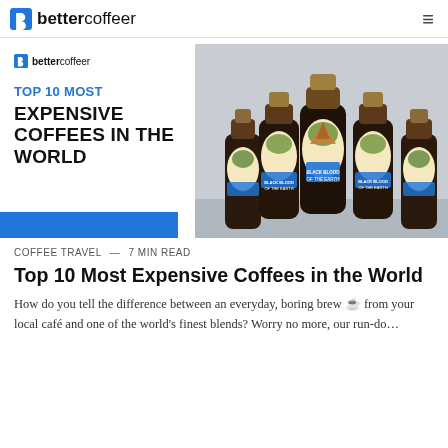bettercoffeer
[Figure (illustration): Hero image with bettercoffeer logo on left, blue header text TOP 10 MOST, bold black EXPENSIVE COFFEES IN THE WORLD, blue bar at bottom left, and photo of multiple dark coffee bottles with illustrated volcano labels on right]
COFFEE TRAVEL — 7 min read
Top 10 Most Expensive Coffees in the World
How do you tell the difference between an everyday, boring brew ☕ from your local café and one of the world's finest blends? Worry no more, our run-do...